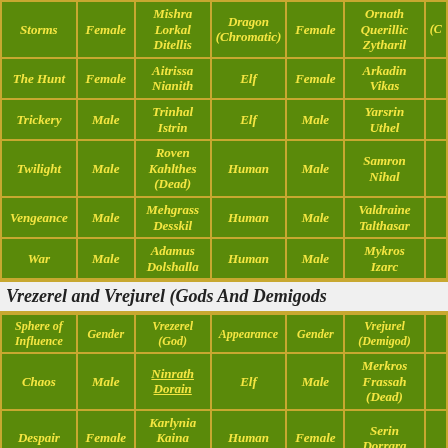| Sphere of Influence | Gender | Vrezerel (God) | Appearance | Gender | Vrejurel (Demigod) |
| --- | --- | --- | --- | --- | --- |
| Storms | Female | Mishra Lorkal Ditellis | Dragon (Chromatic) | Female | Ornath Querillic Zytharil | (C |
| The Hunt | Female | Aitrissa Nianith | Elf | Female | Arkadin Vikas |  |
| Trickery | Male | Trinhal Istrin | Elf | Male | Yarsrin Uthel |  |
| Twilight | Male | Roven Kahlthes (Dead) | Human | Male | Samron Nihal |  |
| Vengeance | Male | Mehgrass Desskil | Human | Male | Valdraine Talthasar |  |
| War | Male | Adamus Dolshalla | Human | Male | Mykros Izarc |  |
Vrezerel and Vrejurel (Gods And Demigods
| Sphere of Influence | Gender | Vrezerel (God) | Appearance | Gender | Vrejurel (Demigod) |
| --- | --- | --- | --- | --- | --- |
| Chaos | Male | Ninrath Dorain | Elf | Male | Merkros Frassah (Dead) |  |
| Despair | Female | Karlynia Kaina (Dead) | Human | Female | Serin Dorrara |  |